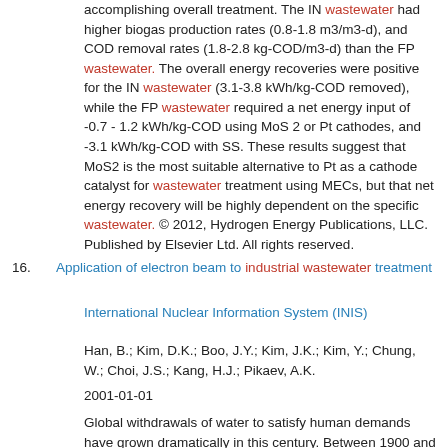accomplishing overall treatment. The IN wastewater had higher biogas production rates (0.8-1.8 m3/m3-d), and COD removal rates (1.8-2.8 kg-COD/m3-d) than the FP wastewater. The overall energy recoveries were positive for the IN wastewater (3.1-3.8 kWh/kg-COD removed), while the FP wastewater required a net energy input of -0.7 - 1.2 kWh/kg-COD using MoS 2 or Pt cathodes, and -3.1 kWh/kg-COD with SS. These results suggest that MoS2 is the most suitable alternative to Pt as a cathode catalyst for wastewater treatment using MECs, but that net energy recovery will be highly dependent on the specific wastewater. © 2012, Hydrogen Energy Publications, LLC. Published by Elsevier Ltd. All rights reserved.
16. Application of electron beam to industrial wastewater treatment
International Nuclear Information System (INIS)
Han, B.; Kim, D.K.; Boo, J.Y.; Kim, J.K.; Kim, Y.; Chung, W.; Choi, J.S.; Kang, H.J.; Pikaev, A.K.
2001-01-01
Global withdrawals of water to satisfy human demands have grown dramatically in this century. Between 1900 and 1995,